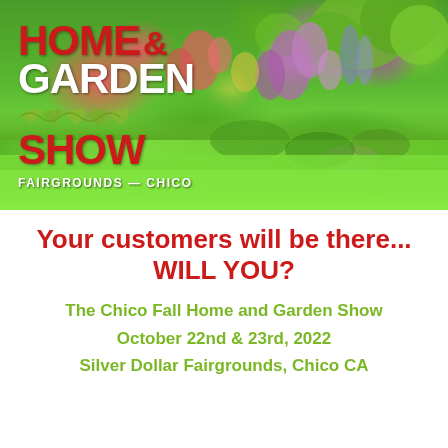[Figure (photo): Garden photo background with colorful flower beds, green lawn, and trees. Home & Garden Show logo overlay on left with red 'HOME &' text, white 'GARDEN' text, red 'SHOW' text, vine decorative element, and 'FAIRGROUNDS — CHICO' subtitle in white.]
Your customers will be there... WILL YOU?
The Chico Fall Home and Garden Show
October 22nd & 23rd, 2022
Silver Dollar Fairgrounds, Chico CA